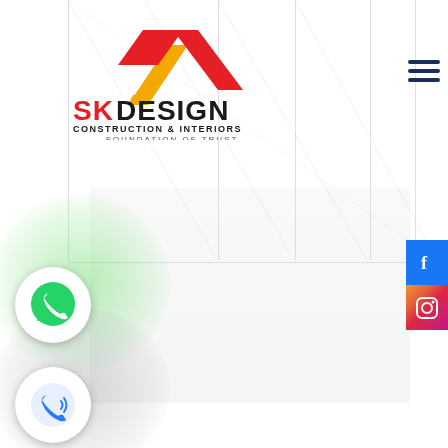[Figure (logo): SK Design Construction & Interiors logo with geometric arrow/chevron shape in red and yellow, company name in bold red and dark text, tagline 'FOUNDATION OF TRUST']
[Figure (illustration): Hamburger menu icon (three horizontal dark navy lines) in top right corner]
[Figure (illustration): Facebook social media icon (white 'f' on blue background) on right edge]
[Figure (illustration): Instagram social media icon (camera icon on gradient background) on right edge]
[Figure (illustration): WhatsApp icon (white phone handset on green speech bubble) inside white circle with green radial glow]
[Figure (illustration): Phone/call icon (blue phone with sound waves) inside white circle with gray radial glow at bottom left]